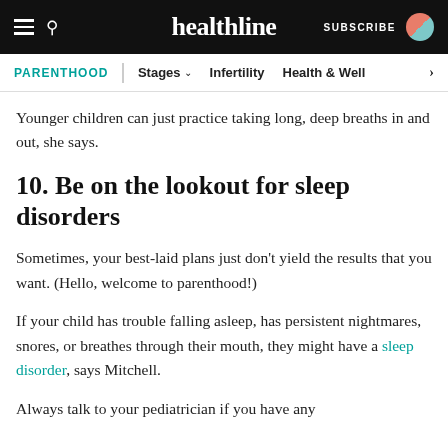healthline | SUBSCRIBE
PARENTHOOD | Stages | Infertility | Health & Well
Younger children can just practice taking long, deep breaths in and out, she says.
10. Be on the lookout for sleep disorders
Sometimes, your best-laid plans just don’t yield the results that you want. (Hello, welcome to parenthood!)
If your child has trouble falling asleep, has persistent nightmares, snores, or breathes through their mouth, they might have a sleep disorder, says Mitchell.
Always talk to your pediatrician if you have any